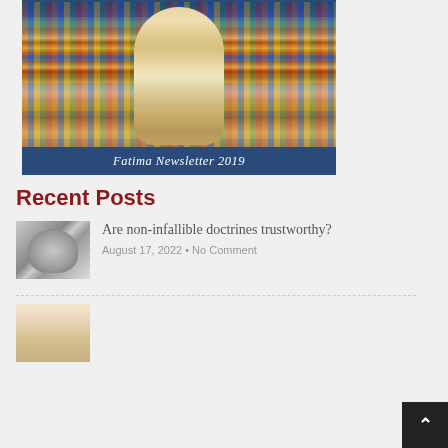[Figure (photo): Statue of Our Lady of Fatima in front of colorful stained glass windows, with overlay banner text 'Fatima Newsletter 2019']
Recent Posts
[Figure (photo): Wolf/dog thumbnail image for post]
Are non-infallible doctrines trustworthy?
August 17, 2022 • No Comment
[Figure (photo): Person with top hat thumbnail image for second post]